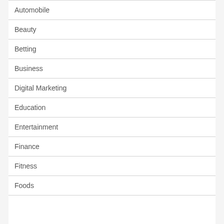Automobile
Beauty
Betting
Business
Digital Marketing
Education
Entertainment
Finance
Fitness
Foods